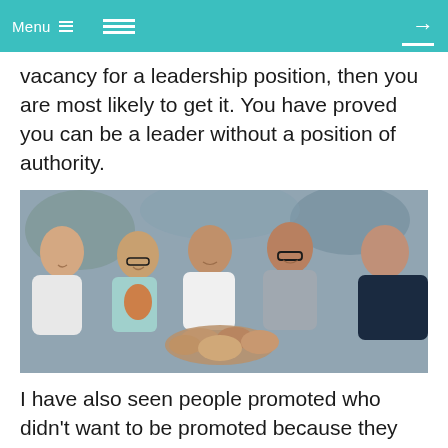Menu ≡
vacancy for a leadership position, then you are most likely to get it. You have proved you can be a leader without a position of authority.
[Figure (photo): Group of five smiling business professionals putting their hands together in a team huddle, gathered around a table in an office setting.]
I have also seen people promoted who didn't want to be promoted because they were high performing. But, they were not necessarily the best leader, or wanted to be. When that happens it is usually the worst case scenario